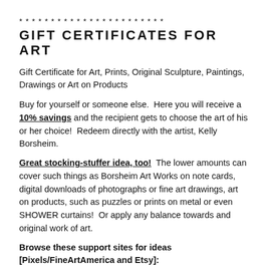* * * * * * * * * * * * * * * * * * * * * * *
GIFT CERTIFICATES FOR ART
Gift Certificate for Art, Prints, Original Sculpture, Paintings, Drawings or Art on Products
Buy for yourself or someone else.  Here you will receive a 10% savings and the recipient gets to choose the art of his or her choice!  Redeem directly with the artist, Kelly Borsheim.
Great stocking-stuffer idea, too!  The lower amounts can cover such things as Borsheim Art Works on note cards, digital downloads of photographs or fine art drawings, art on products, such as puzzles or prints on metal or even SHOWER curtains!  Or apply any balance towards and original work of art.
Browse these support sites for ideas [Pixels/FineArtAmerica and Etsy]:
https://pixels.com/profiles/1-kelly-borsheim